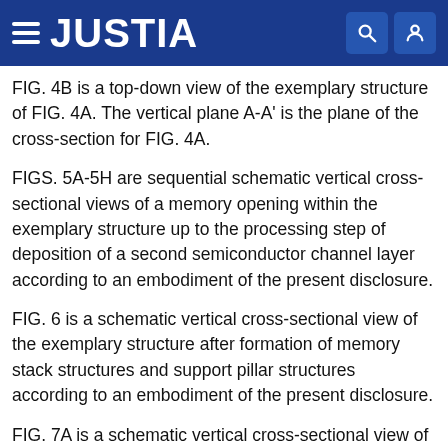JUSTIA
FIG. 4B is a top-down view of the exemplary structure of FIG. 4A. The vertical plane A-A' is the plane of the cross-section for FIG. 4A.
FIGS. 5A-5H are sequential schematic vertical cross-sectional views of a memory opening within the exemplary structure up to the processing step of deposition of a second semiconductor channel layer according to an embodiment of the present disclosure.
FIG. 6 is a schematic vertical cross-sectional view of the exemplary structure after formation of memory stack structures and support pillar structures according to an embodiment of the present disclosure.
FIG. 7A is a schematic vertical cross-sectional view of the exemplary structure after formation of a backside trench according to an embodiment of the present disclosure.